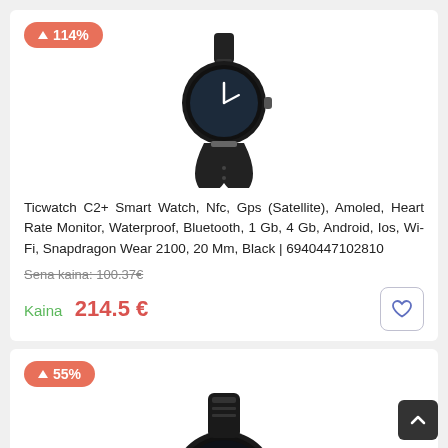[Figure (photo): Ticwatch C2+ smartwatch product image on white background]
Ticwatch C2+ Smart Watch, Nfc, Gps (Satellite), Amoled, Heart Rate Monitor, Waterproof, Bluetooth, 1 Gb, 4 Gb, Android, Ios, Wi-Fi, Snapdragon Wear 2100, 20 Mm, Black | 6940447102810
Sena kaina: 100.37€
Kaina 214.5 €
[Figure (photo): Second smartwatch product image (partial, black) on white background]